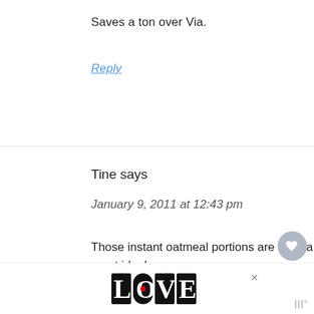Saves a ton over Via.
Reply
Tine says
January 9, 2011 at 12:43 pm
Those instant oatmeal portions are such a great idea!
You can't find those here in Belgium.
Oatmeal isn't that 'hip' here...
[Figure (other): LOVE advertisement banner with decorative lettering]
[Figure (other): What's Next panel with avatar showing How To Travel Using Credit...]